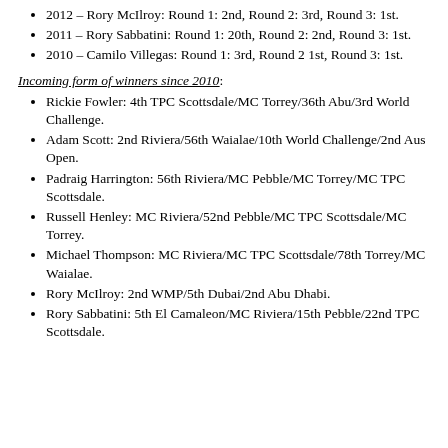2012 – Rory McIlroy: Round 1: 2nd, Round 2: 3rd, Round 3: 1st.
2011 – Rory Sabbatini: Round 1: 20th, Round 2: 2nd, Round 3: 1st.
2010 – Camilo Villegas: Round 1: 3rd, Round 2 1st, Round 3: 1st.
Incoming form of winners since 2010:
Rickie Fowler: 4th TPC Scottsdale/MC Torrey/36th Abu/3rd World Challenge.
Adam Scott: 2nd Riviera/56th Waialae/10th World Challenge/2nd Aus Open.
Padraig Harrington: 56th Riviera/MC Pebble/MC Torrey/MC TPC Scottsdale.
Russell Henley: MC Riviera/52nd Pebble/MC TPC Scottsdale/MC Torrey.
Michael Thompson: MC Riviera/MC TPC Scottsdale/78th Torrey/MC Waialae.
Rory McIlroy: 2nd WMP/5th Dubai/2nd Abu Dhabi.
Rory Sabbatini: 5th El Camaleon/MC Riviera/15th Pebble/22nd TPC Scottsdale.